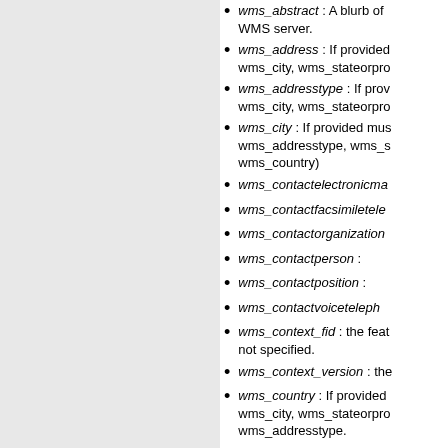wms_abstract : A blurb of WMS server.
wms_address : If provided wms_city, wms_stateorpro
wms_addresstype : If prov wms_city, wms_stateorpro
wms_city : If provided must wms_addresstype, wms_s wms_country)
wms_contactelectronicma
wms_contactfacsimiletele
wms_contactorganization
wms_contactperson :
wms_contactposition :
wms_contactvoiceteleph
wms_context_fid : the feat not specified.
wms_context_version : the
wms_country : If provided wms_city, wms_stateorpro wms_addresstype.
wms_descriptionurl_forma relevant information to the
wms_descriptionurl_href